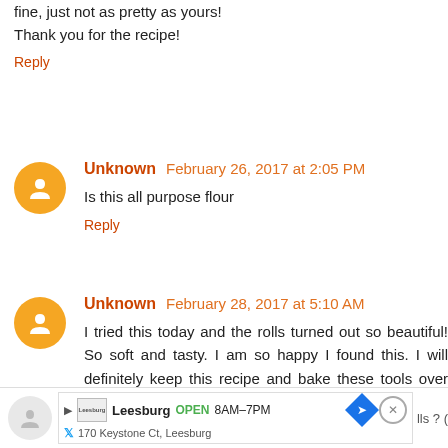fine, just not as pretty as yours!
Thank you for the recipe!
Reply
Unknown  February 26, 2017 at 2:05 PM
Is this all purpose flour
Reply
Unknown  February 28, 2017 at 5:10 AM
I tried this today and the rolls turned out so beautiful! So soft and tasty. I am so happy I found this. I will definitely keep this recipe and bake these tools over and over again! May stuff them the next time around :) thanks so much!
Reply
[Figure (screenshot): Ad banner for Leesburg, showing OPEN 8AM-7PM, 170 Keystone Ct, Leesburg]